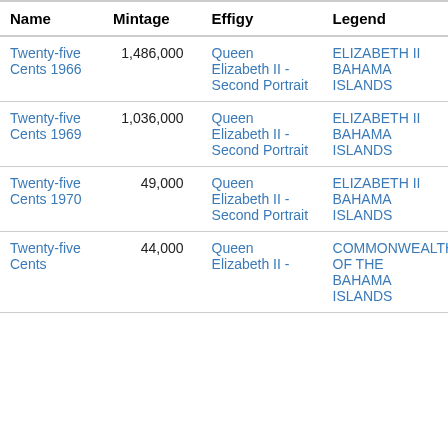| Name | Mintage | Effigy | Legend |
| --- | --- | --- | --- |
| Twenty-five Cents 1966 | 1,486,000 | Queen Elizabeth II - Second Portrait | ELIZABETH II BAHAMA ISLANDS |
| Twenty-five Cents 1969 | 1,036,000 | Queen Elizabeth II - Second Portrait | ELIZABETH II BAHAMA ISLANDS |
| Twenty-five Cents 1970 | 49,000 | Queen Elizabeth II - Second Portrait | ELIZABETH II BAHAMA ISLANDS |
| Twenty-five Cents [partial] | 44,000 | Queen Elizabeth II - | COMMONWEALTH OF THE BAHAMA ISLANDS |